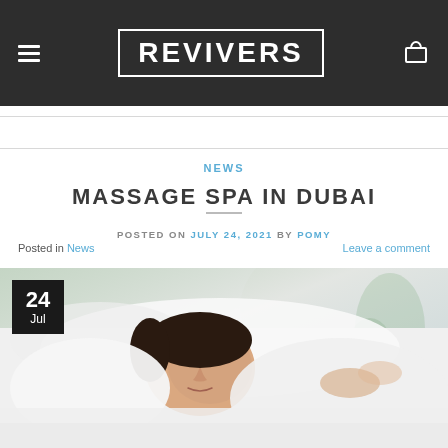REVIVERS
Posted in News   Leave a comment
NEWS
MASSAGE SPA IN DUBAI
POSTED ON JULY 24, 2021 BY POMY
[Figure (photo): Woman lying down receiving a spa/massage treatment, wearing white robe, eyes closed, relaxed expression. Green plants visible in background. Date badge showing 24 Jul in top-left corner of image.]